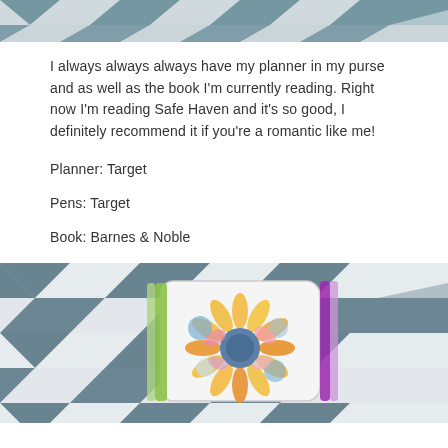[Figure (photo): Top portion of a photo showing a gray and white chevron/geometric patterned rug]
I always always always have my planner in my purse and as well as the book I'm currently reading. Right now I'm reading Safe Haven and it's so good, I definitely recommend it if you're a romantic like me!
Planner: Target
Pens: Target
Book: Barnes & Noble
[Figure (photo): Photo of a floral-patterned pen case with colorful pens on a gray and white geometric rug background]